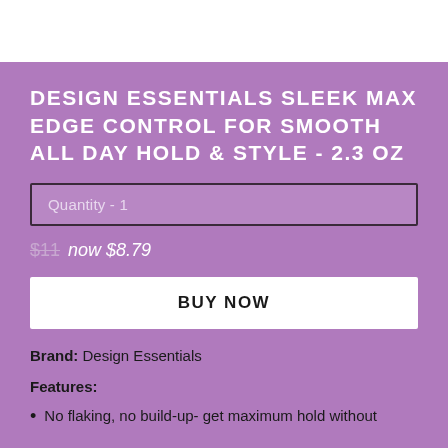DESIGN ESSENTIALS SLEEK MAX EDGE CONTROL FOR SMOOTH ALL DAY HOLD & STYLE - 2.3 OZ
Quantity - 1
$11  now $8.79
BUY NOW
Brand: Design Essentials
Features:
No flaking, no build-up- get maximum hold without